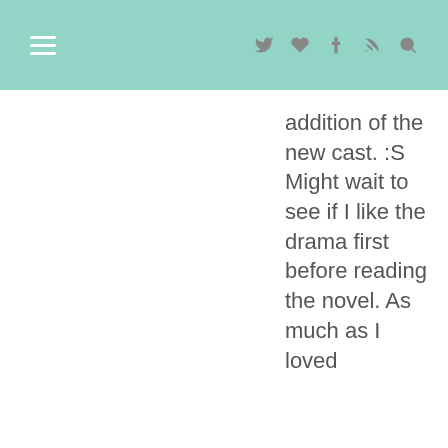navigation header with hamburger menu and icons
addition of the new cast. :S Might wait to see if I like the drama first before reading the novel. As much as I loved